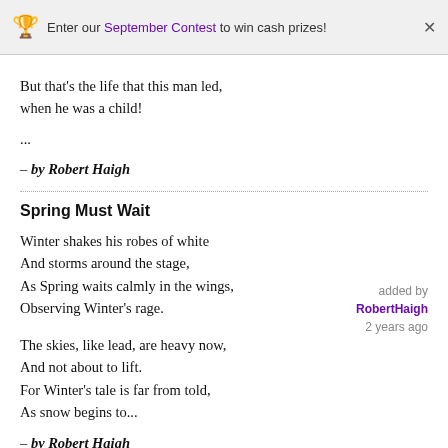Enter our September Contest to win cash prizes! ×
But that's the life that this man led,
when he was a child!

...
– by Robert Haigh
Spring Must Wait
Winter shakes his robes of white
And storms around the stage,
As Spring waits calmly in the wings,
Observing Winter's rage.
The skies, like lead, are heavy now,
And not about to lift.
For Winter's tale is far from told,
As snow begins to...
– by Robert Haigh
added by RobertHaigh 2 years ago